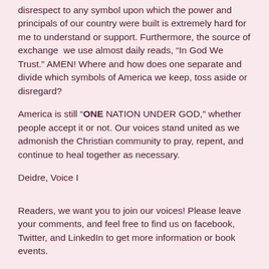disrespect to any symbol upon which the power and principals of our country were built is extremely hard for me to understand or support. Furthermore, the source of exchange  we use almost daily reads, “In God We Trust.” AMEN! Where and how does one separate and divide which symbols of America we keep, toss aside or disregard?
America is still “ONE NATION UNDER GOD,” whether people accept it or not. Our voices stand united as we admonish the Christian community to pray, repent, and continue to heal together as necessary.
Deidre, Voice I
Readers, we want you to join our voices! Please leave your comments, and feel free to find us on facebook, Twitter, and LinkedIn to get more information or book events.
Copies of the book can be purchased at https://onegodtwovoices.com/purchase/
Take a look at our latest youtube video!!